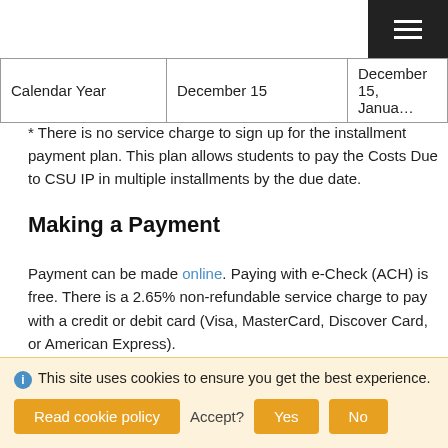| Calendar Year | December 15 | December 15, Janua... |
* There is no service charge to sign up for the installment payment plan. This plan allows students to pay the Costs Due to CSU IP in multiple installments by the due date.
Making a Payment
Payment can be made online. Paying with e-Check (ACH) is free. There is a 2.65% non-refundable service charge to pay with a credit or debit card (Visa, MasterCard, Discover Card, or American Express).
To pay for the $500 deposit, you must log in to your student portal, open the material labeled "$500 Deposit", and follow the link provided on the document.
This site uses cookies to ensure you get the best experience.